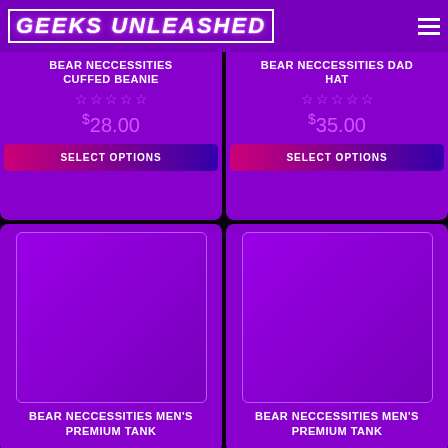GEEKS UNLEASHED
BEAR NECCESSITIES CUFFED BEANIE
$28.00
SELECT OPTIONS
BEAR NECCESSITIES DAD HAT
$35.00
SELECT OPTIONS
[Figure (photo): Product image placeholder for Bear Neccessities Men's Premium Tank (left)]
BEAR NECCESSITIES MEN'S PREMIUM TANK
[Figure (photo): Product image placeholder for Bear Neccessities Men's Premium Tank (right)]
BEAR NECCESSITIES MEN'S PREMIUM TANK